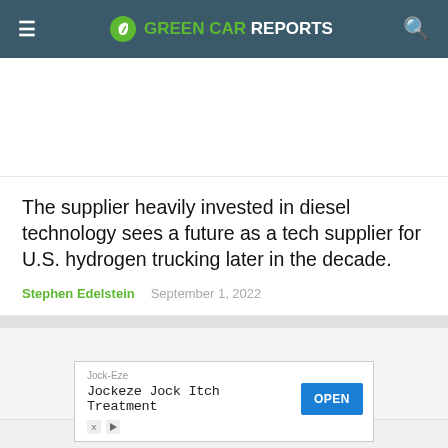GREEN CAR REPORTS
The supplier heavily invested in diesel technology sees a future as a tech supplier for U.S. hydrogen trucking later in the decade.
Stephen Edelstein   September 1, 2022
[Figure (other): Advertisement banner: Jock-Eze Jockeze Jock Itch Treatment with OPEN button]